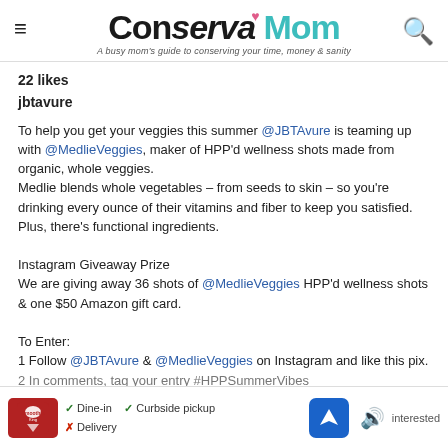ConservaMom – A busy mom's guide to conserving your time, money & sanity
22 likes
jbtavure
To help you get your veggies this summer @JBTAvure is teaming up with @MedlieVeggies, maker of HPP'd wellness shots made from organic, whole veggies.
Medle blends whole vegetables – from seeds to skin – so you're drinking every ounce of their vitamins and fiber to keep you satisfied. Plus, there's functional ingredients.

Instagram Giveaway Prize
We are giving away 36 shots of @MedlieVeggies HPP'd wellness shots & one $50 Amazon gift card.

To Enter:
1 Follow @JBTAvure & @MedlieVeggies on Instagram and like this pix.
2 In comments, tag your entry #HPPSummerVibes
[Figure (screenshot): Ad bar at the bottom showing a restaurant (Smoothie King) with dine-in, curbside pickup, no delivery options, map icon, and sound icon]